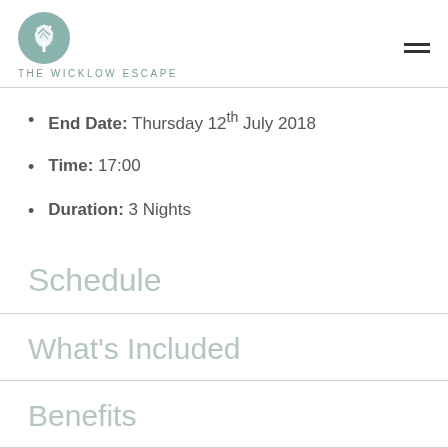THE WICKLOW ESCAPE
End Date: Thursday 12th July 2018
Time: 17:00
Duration: 3 Nights
Schedule
What's Included
Benefits